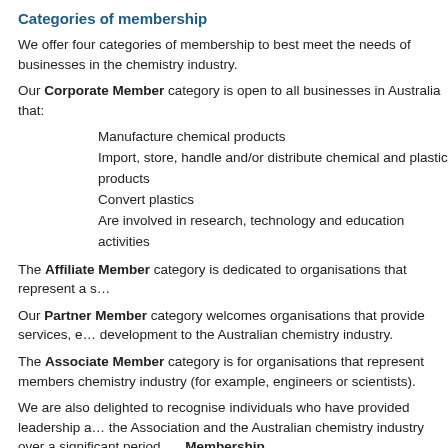Categories of membership
We offer four categories of membership to best meet the needs of businesses in the chemistry industry.
Our Corporate Member category is open to all businesses in Australia that:
Manufacture chemical products
Import, store, handle and/or distribute chemical and plastic products
Convert plastics
Are involved in research, technology and education activities
The Affiliate Member category is dedicated to organisations that represent a s…
Our Partner Member category welcomes organisations that provide services, e… development to the Australian chemistry industry.
The Associate Member category is for organisations that represent members chemistry industry (for example, engineers or scientists).
We are also delighted to recognise individuals who have provided leadership a… the Association and the Australian chemistry industry over a significant period, … Membership.
How to join
All membership enquiries are welcome.
Please contact Chemistry Australia on 03 9611 5400 or email info@chemistrya…